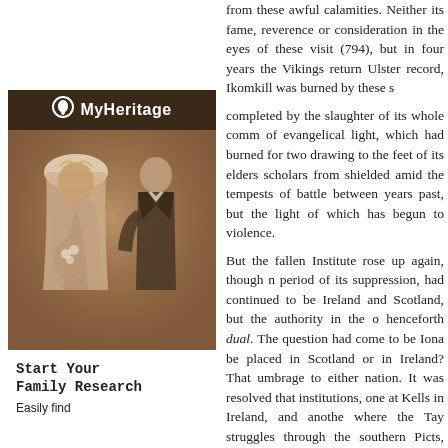[Figure (photo): MyHeritage advertisement featuring a sepia-toned wedding photo of a bride and groom. The bride wears a veil and holds a bouquet. The groom is in a dark suit. The MyHeritage logo appears above. Below reads 'Start Your Family Research' and 'Easily find'.]
from these awful calamities. Neither its fame, reverence or consideration in the eyes of these visit (794), but in four years the Vikings return Ulster record, Ikomkill was burned by these s completed by the slaughter of its whole comm of evangelical light, which had burned for two drawing to the feet of its elders scholars from shielded amid the tempests of battle between years past, but the light of which has begun t violence.
But the fallen Institute rose up again, though period of its suppression, had continued to be Ireland and Scotland, but the authority in the henceforth dual. The question had come to be Iona be placed in Scotland or in Ireland? Tha umbrage to either nation. It was resolved that institutions, one at Kells in Ireland, and anothe where the Tay struggles through the southern Picts, laid the foundations of a second Iona, a relics of Columba were afterwards dug up and which the new temple stood; for men had beg rather than in that which comes down from he bones of Columba, than animating the new i than rekindling, in its first brightness, the old l
The conversion of the Pictish monarch in 7l7 Rome; and the enforced exodus of the Colum to think, the originating causes of those politic immediately consequent on the change of reli